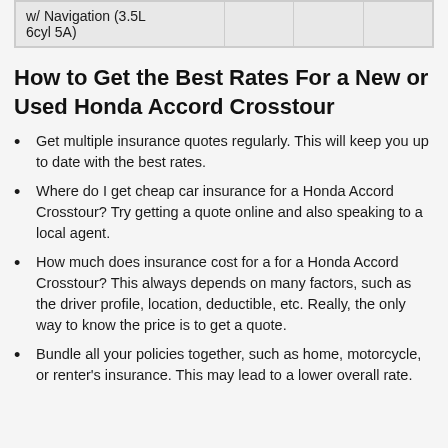| w/ Navigation (3.5L 6cyl 5A) |  |  |  |
How to Get the Best Rates For a New or Used Honda Accord Crosstour
Get multiple insurance quotes regularly. This will keep you up to date with the best rates.
Where do I get cheap car insurance for a Honda Accord Crosstour? Try getting a quote online and also speaking to a local agent.
How much does insurance cost for a for a Honda Accord Crosstour? This always depends on many factors, such as the driver profile, location, deductible, etc. Really, the only way to know the price is to get a quote.
Bundle all your policies together, such as home, motorcycle, or renter's insurance. This may lead to a lower overall rate.